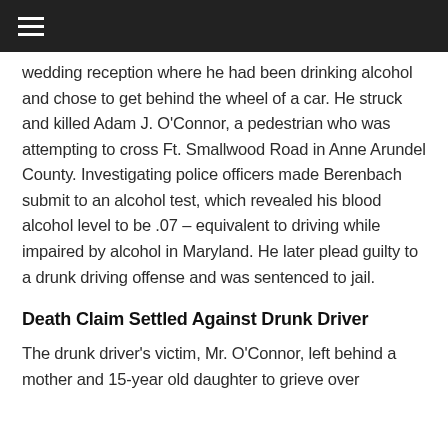≡
wedding reception where he had been drinking alcohol and chose to get behind the wheel of a car. He struck and killed Adam J. O'Connor, a pedestrian who was attempting to cross Ft. Smallwood Road in Anne Arundel County. Investigating police officers made Berenbach submit to an alcohol test, which revealed his blood alcohol level to be .07 – equivalent to driving while impaired by alcohol in Maryland. He later plead guilty to a drunk driving offense and was sentenced to jail.
Death Claim Settled Against Drunk Driver
The drunk driver's victim, Mr. O'Connor, left behind a mother and 15-year old daughter to grieve over